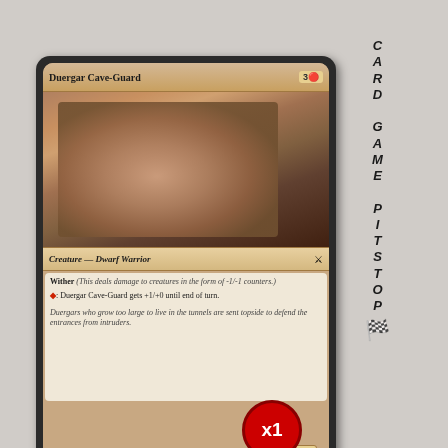[Figure (illustration): Magic: The Gathering card 'Duergar Cave-Guard' - Red creature card showing a stout dwarf warrior in armor holding a weapon, cost 3R, Creature - Dwarf Warrior 1/3 with Wither ability]
CARD GAME PITSTOP
x1
[Figure (illustration): Magic: The Gathering card 'Steam Blast' partially visible at bottom - Red instant card showing a goblin-like creature, cost 2R]